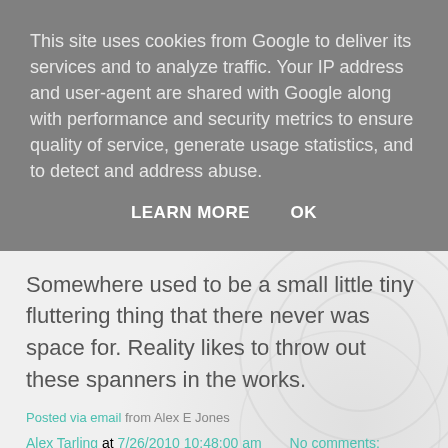This site uses cookies from Google to deliver its services and to analyze traffic. Your IP address and user-agent are shared with Google along with performance and security metrics to ensure quality of service, generate usage statistics, and to detect and address abuse.
LEARN MORE   OK
Somewhere used to be a small little tiny fluttering thing that there never was space for. Reality likes to throw out these spanners in the works.
Posted via email from Alex E Jones
Alex Tarling at 7/26/2010 10:48:00 am   No comments:
Share
Sunday, July 25, 2010